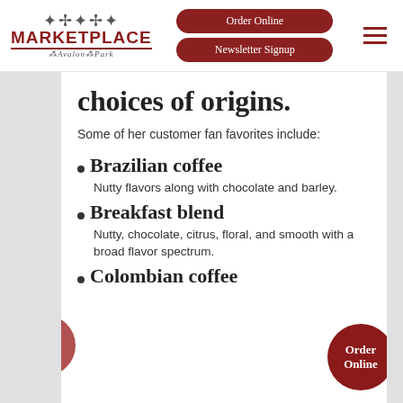MARKETPLACE at Avalon Park
choices of origins.
Some of her customer fan favorites include:
Brazilian coffee — Nutty flavors along with chocolate and barley.
Breakfast blend — Nutty, chocolate, citrus, floral, and smooth with a broad flavor spectrum.
Colombian coffee